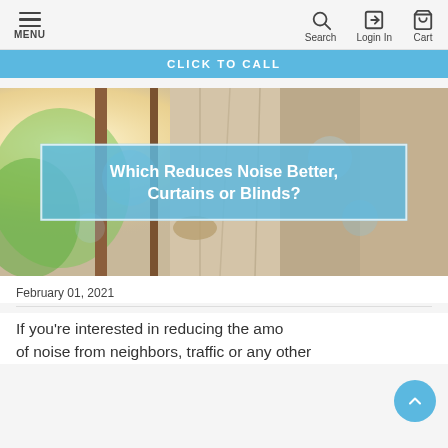MENU  Search  Login In  Cart
CLICK TO CALL
[Figure (photo): Hero image of curtains/drapes near a window with bright outdoor light, overlaid with a blue semi-transparent box containing the article title.]
Which Reduces Noise Better, Curtains or Blinds?
February 01, 2021
If you're interested in reducing the amount of noise from neighbors, traffic or any other